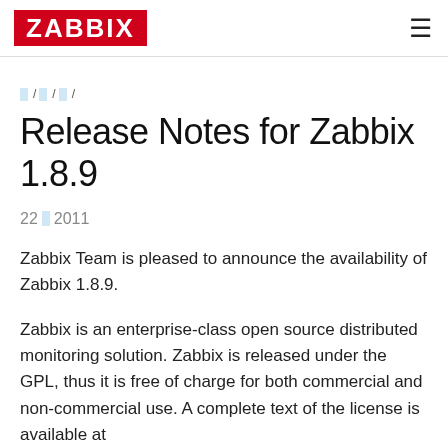ZABBIX
ꀀꀀ / ꀀꀀ / ꀀꀀꀀꀀꀀꀀꀀ /
Release Notes for Zabbix 1.8.9
22 ꀀꀀꀀ 2011
Zabbix Team is pleased to announce the availability of Zabbix 1.8.9.
Zabbix is an enterprise-class open source distributed monitoring solution. Zabbix is released under the GPL, thus it is free of charge for both commercial and non-commercial use. A complete text of the license is available at